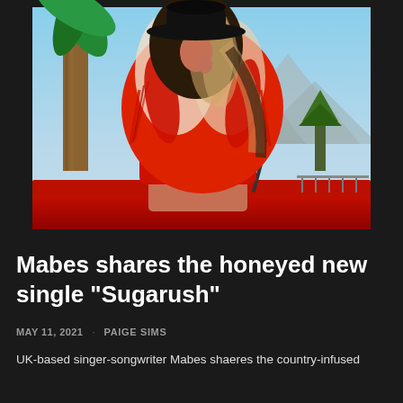[Figure (photo): A woman wearing a black wide-brim hat and a red fluffy/feathered coat or jacket, sitting on what appears to be a red convertible car. She has long dark-to-blonde hair. Background shows a blue sky, palm tree, and mountains.]
Mabes shares the honeyed new single "Sugarush"
MAY 11, 2021 · PAIGE SIMS
UK-based singer-songwriter Mabes shaeres the country-infused